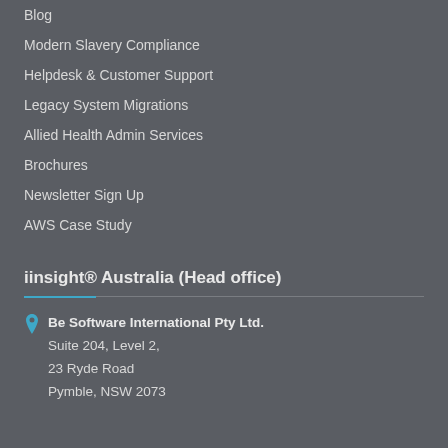Blog
Modern Slavery Compliance
Helpdesk & Customer Support
Legacy System Migrations
Allied Health Admin Services
Brochures
Newsletter Sign Up
AWS Case Study
iinsight® Australia (Head office)
Be Software International Pty Ltd.
Suite 204, Level 2,
23 Ryde Road
Pymble, NSW 2073